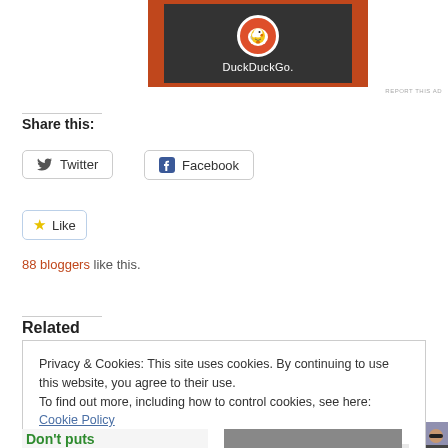[Figure (screenshot): DuckDuckGo advertisement banner with orange background and dark center showing DuckDuckGo duck logo and text 'DuckDuckGo.']
REPORT THIS AD
Share this:
Twitter
Facebook
[Figure (screenshot): Like button with star icon followed by 10 blogger avatar thumbnails]
88 bloggers like this.
Related
Privacy & Cookies: This site uses cookies. By continuing to use this website, you agree to their use.
To find out more, including how to control cookies, see here: Cookie Policy
Close and accept
[Figure (screenshot): Two partial thumbnail images at bottom: left shows 'Don't puts' in green text, right shows a dark textured image]